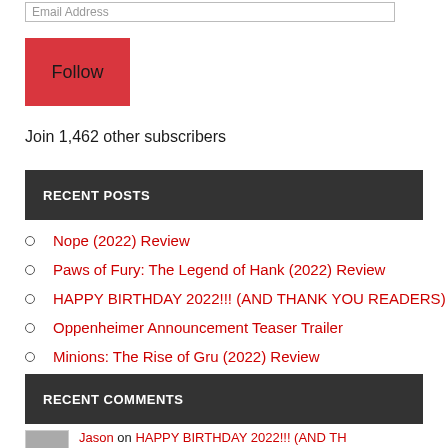Email Address
Follow
Join 1,462 other subscribers
RECENT POSTS
Nope (2022) Review
Paws of Fury: The Legend of Hank (2022) Review
HAPPY BIRTHDAY 2022!!! (AND THANK YOU READERS)
Oppenheimer Announcement Teaser Trailer
Minions: The Rise of Gru (2022) Review
RECENT COMMENTS
Jason on HAPPY BIRTHDAY 2022!!! (AND TH...